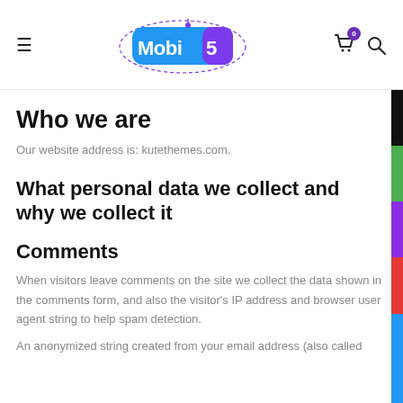Mobi5 — navigation header with hamburger menu, logo, cart, and search icons
Who we are
Our website address is: kutethemes.com.
What personal data we collect and why we collect it
Comments
When visitors leave comments on the site we collect the data shown in the comments form, and also the visitor's IP address and browser user agent string to help spam detection.
An anonymized string created from your email address (also called